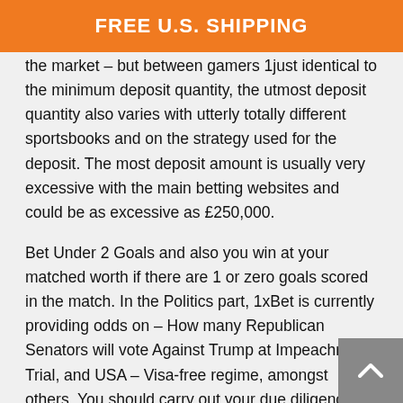FREE U.S. SHIPPING
the market – but between gamers 1just identical to the minimum deposit quantity, the utmost deposit quantity also varies with utterly totally different sportsbooks and on the strategy used for the deposit. The most deposit amount is usually very excessive with the main betting websites and could be as excessive as £250,000.
Bet Under 2 Goals and also you win at your matched worth if there are 1 or zero goals scored in the match. In the Politics part, 1xBet is currently providing odds on – How many Republican Senators will vote Against Trump at Impeachment Trial, and USA – Visa-free regime, amongst others. You should carry out your due diligence sooner than punting on any Esports market, and again a gaggle which has a historical past of worthwhile. Bookmaker's margin in essence, is the margin which exists above a one hundred% market. Nevertheless , adolescents with strong good attitudes to